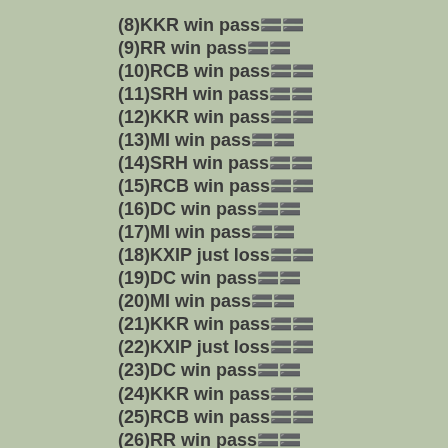(8)KKR win pass🟰🟰
(9)RR win pass🟰🟰
(10)RCB win pass🟰🟰
(11)SRH win pass🟰🟰
(12)KKR win pass🟰🟰
(13)MI win pass🟰🟰
(14)SRH win pass🟰🟰
(15)RCB win pass🟰🟰
(16)DC win pass🟰🟰
(17)MI win pass🟰🟰
(18)KXIP just loss🟰🟰
(19)DC win pass🟰🟰
(20)MI win pass🟰🟰
(21)KKR win pass🟰🟰
(22)KXIP just loss🟰🟰
(23)DC win pass🟰🟰
(24)KKR win pass🟰🟰
(25)RCB win pass🟰🟰
(26)RR win pass🟰🟰
(27)MI win pass🟰🟰
(28)RCB win pass🟰🟰
(29)CSK win pass🟰🟰